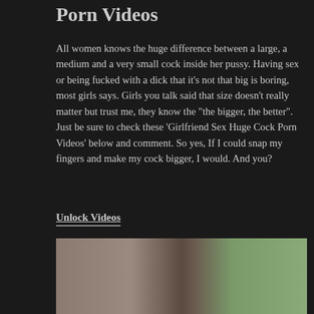Porn Videos
All women knows the huge difference between a large, a medium and a very small cock inside her pussy. Having sex or being fucked with a dick that it’s not that big is boring, most girls says. Girls you talk said that size doesn’t really matter but trust me, they know the “the bigger, the better”. Just be sure to check these ‘Girlfriend Sex Huge Cock Porn Videos’ below and comment. So yes, If I could snap my fingers and make my cock bigger, I would. And you?
Unlock Videos
[Figure (photo): Two people, one male and one female, photographic collage]